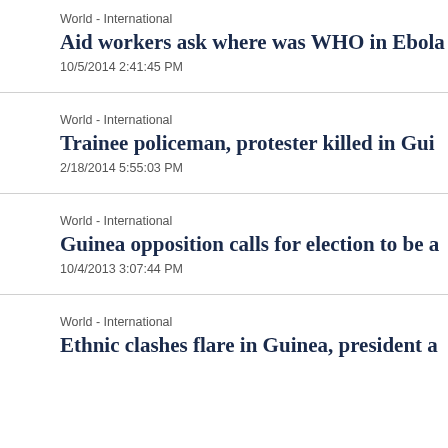World - International
Aid workers ask where was WHO in Ebola
10/5/2014 2:41:45 PM
World - International
Trainee policeman, protester killed in Gui
2/18/2014 5:55:03 PM
World - International
Guinea opposition calls for election to be a
10/4/2013 3:07:44 PM
World - International
Ethnic clashes flare in Guinea, president a